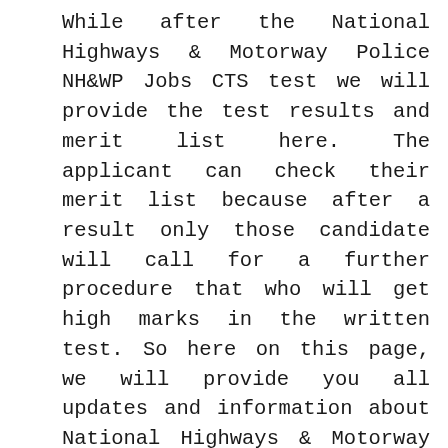While after the National Highways & Motorway Police NH&WP Jobs CTS test we will provide the test results and merit list here. The applicant can check their merit list because after a result only those candidate will call for a further procedure that who will get high marks in the written test. So here on this page, we will provide you all updates and information about National Highways & Motorway Police NH&WP jobs. National Highways & Motorway Police NH&WP CTS jobs 2022 test result check online through the given link below.